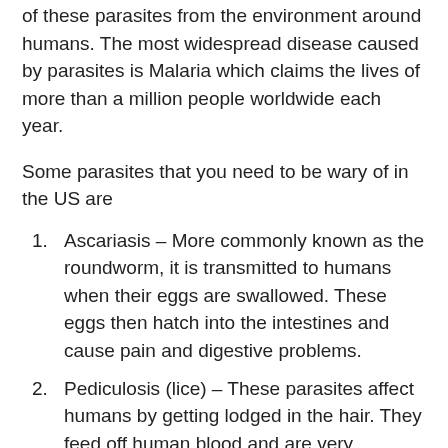of these parasites from the environment around humans. The most widespread disease caused by parasites is Malaria which claims the lives of more than a million people worldwide each year.
Some parasites that you need to be wary of in the US are
Ascariasis – More commonly known as the roundworm, it is transmitted to humans when their eggs are swallowed. These eggs then hatch into the intestines and cause pain and digestive problems.
Pediculosis (lice) – These parasites affect humans by getting lodged in the hair. They feed off human blood and are very contagious. They also get transmitted from contaminated